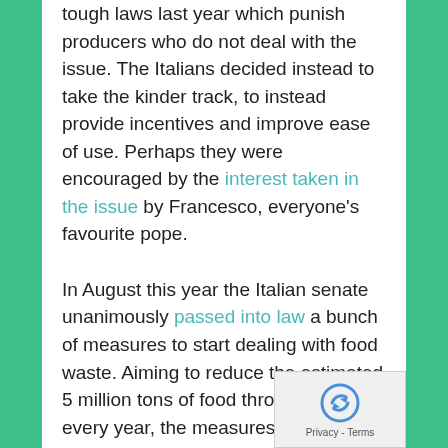tough laws last year which punish producers who do not deal with the issue. The Italians decided instead to take the kinder track, to instead provide incentives and improve ease of use. Perhaps they were encouraged by the interest taken in the issue by Francesco, everyone's favourite pope.
In August this year the Italian senate unanimously passed into law a bunch of measures to start dealing with food waste. Aiming to reduce the estimated 5 million tons of food thrown away every year, the measures include ways for companies and farmers to more easily donate unused food to charity by setting realistic rules about sell-by